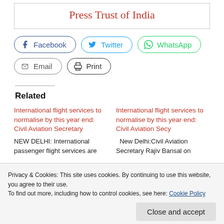Press Trust of India
[Figure (other): Social share buttons: Facebook, Twitter, WhatsApp, Email, Print]
Related
International flight services to normalise by this year end: Civil Aviation Secretary
NEW DELHI: International passenger flight services are
International flight services to normalise by this year end: Civil Aviation Secy
New Delhi:Civil Aviation Secretary Rajiv Bansal on
Privacy & Cookies: This site uses cookies. By continuing to use this website, you agree to their use.
To find out more, including how to control cookies, see here: Cookie Policy
Close and accept